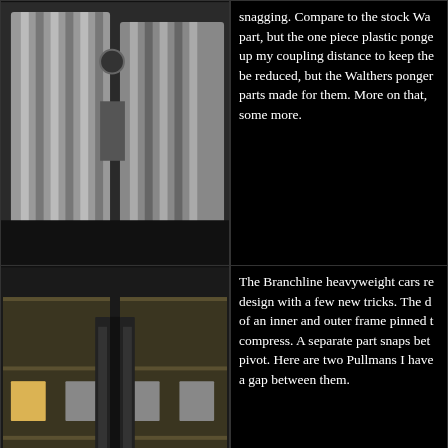[Figure (photo): Close-up photo of model train car coupler/diaphragm detail, silver corrugated side visible]
snagging. Compare to the stock Wa part, but the one piece plastic ponge up my coupling distance to keep the be reduced, but the Walthers ponger parts made for them. More on that, some more.
[Figure (photo): Photo of two model heavyweight Pullman passenger cars connected together, showing the diaphragm/vestibule connection between cars]
The Branchline heavyweight cars re design with a few new tricks. The d of an inner and outer frame pinned t compress. A separate part snaps bet pivot. Here are two Pullmans I have a gap between them.
[Figure (photo): Second photo of two model heavyweight Pullman passenger cars connected together showing diaphragm plates barely touching]
The look is quite good, but there is the plates barely touch. This is as cl Route. But I reserve the right to mo
[Figure (photo): Photo of model passenger car end showing vestibule/diaphragm area from a different angle]
This is what the cars look like in a